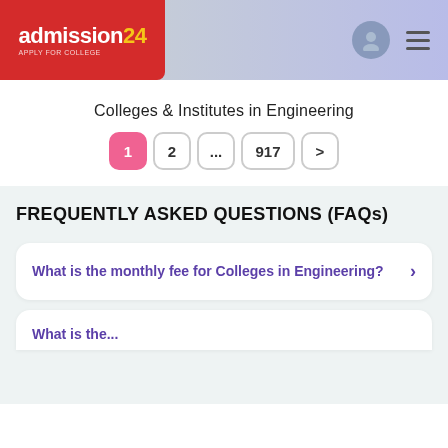[Figure (logo): admission24 logo in red box with white text and yellow '24']
Colleges & Institutes in Engineering
Pagination: 1 (active), 2, ..., 917, >
FREQUENTLY ASKED QUESTIONS (FAQs)
What is the monthly fee for Colleges in Engineering?